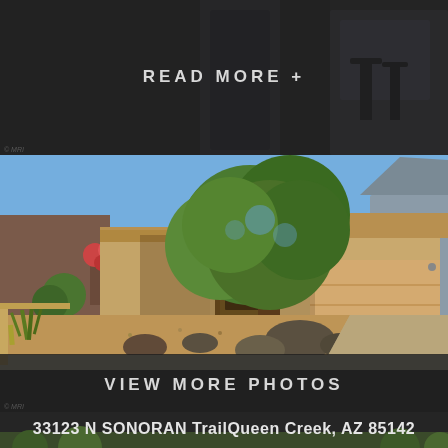READ MORE +
[Figure (photo): Exterior photo of a single-story desert-landscaped home with tan stucco walls, a two-car garage, large tree in front yard, rocks and desert plants, blue sky background in Queen Creek, AZ]
VIEW MORE PHOTOS
33123 N SONORAN TrailQueen Creek, AZ 85142